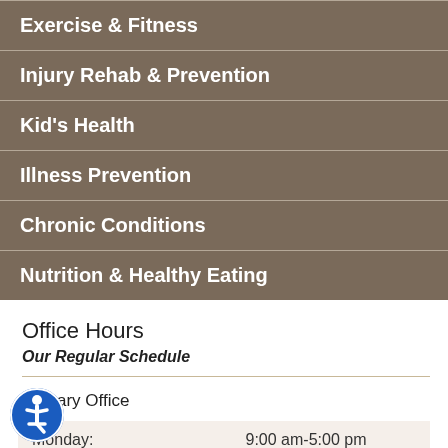Exercise & Fitness
Injury Rehab & Prevention
Kid's Health
Illness Prevention
Chronic Conditions
Nutrition & Healthy Eating
Office Hours
Our Regular Schedule
Primary Office
| Day | Hours |
| --- | --- |
| Monday: | 9:00 am-5:00 pm |